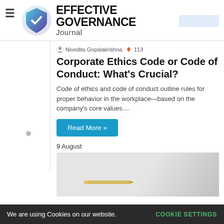EFFECTIVE GOVERNANCE Journal
Nivedita Gopalakrishna 🔥 113
Corporate Ethics Code or Code of Conduct: What's Crucial?
Code of ethics and code of conduct outline rules for proper behavior in the workplace—based on the company's core values....
Read More »
9 August
[Figure (photo): Partial view of a document page with a pen or pencil resting on it, gray background]
We are using Cookies on our website.   COOKIE SETTINGS